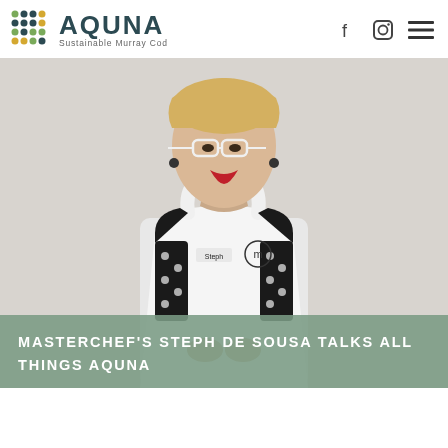AQUNA Sustainable Murray Cod
[Figure (photo): Woman wearing white MasterChef apron labeled 'Steph' with MasterChef logo, black polka-dot top, white glasses, blonde hair, standing against light grey background]
MASTERCHEF'S STEPH DE SOUSA TALKS ALL THINGS AQUNA